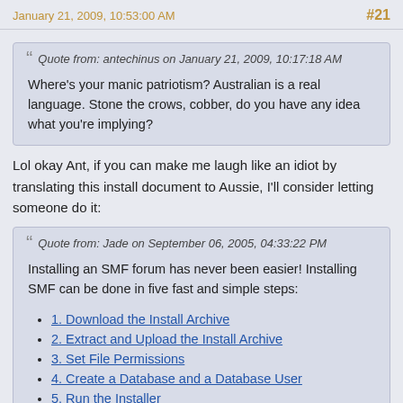January 21, 2009, 10:53:00 AM  #21
Quote from: antechinus on January 21, 2009, 10:17:18 AM

Where's your manic patriotism? Australian is a real language. Stone the crows, cobber, do you have any idea what you're implying?
Lol okay Ant, if you can make me laugh like an idiot by translating this install document to Aussie, I'll consider letting someone do it:
Quote from: Jade on September 06, 2005, 04:33:22 PM

Installing an SMF forum has never been easier! Installing SMF can be done in five fast and simple steps:
1. Download the Install Archive
2. Extract and Upload the Install Archive
3. Set File Permissions
4. Create a Database and a Database User
5. Run the Installer